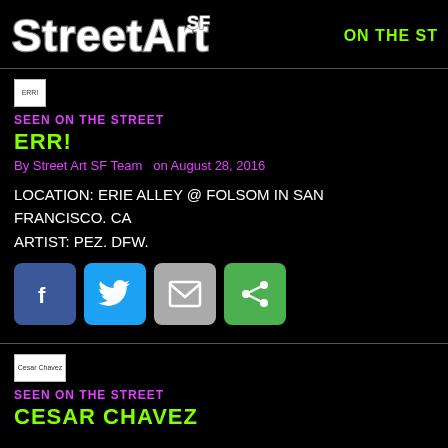StreetArtSF | ON THE ST...
[Figure (logo): StreetArtSF graffiti-style logo in white with grey outline, with 'SF' superscript]
ON THE ST
[Figure (photo): Broken image placeholder labeled ERR!]
SEEN ON THE STREET
ERR!
By Street Art SF Team  on August 28, 2016
LOCATION: ERIE ALLEY @ FOLSOM IN SAN FRANCISCO. CA
ARTIST: PEZ. DFW.
[Figure (infographic): Social share buttons: Facebook (blue), Twitter (light blue), Email (grey), Share (green)]
[Figure (photo): Broken image placeholder labeled Cesar Chavez]
SEEN ON THE STREET
CESAR CHAVEZ